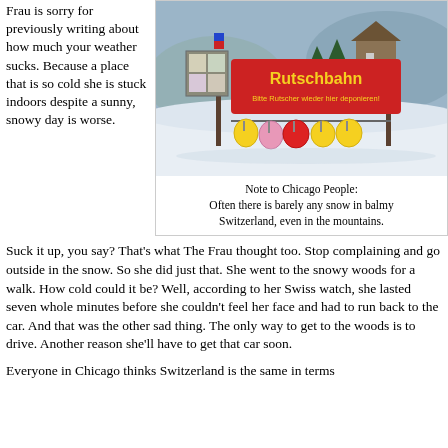Frau is sorry for previously writing about how much your weather sucks. Because a place that is so cold she is stuck indoors despite a sunny, snowy day is worse.
[Figure (photo): A snowy outdoor scene with a red sign reading 'Rutschbahn - Bitte Rutscher wieder hier deponieren!' and colorful sleds hanging on a rack below it, with snow-covered hills and buildings in the background.]
Note to Chicago People:
Often there is barely any snow in balmy Switzerland, even in the mountains.
Suck it up, you say? That's what The Frau thought too. Stop complaining and go outside in the snow. So she did just that. She went to the snowy woods for a walk. How cold could it be? Well, according to her Swiss watch, she lasted seven whole minutes before she couldn't feel her face and had to run back to the car. And that was the other sad thing. The only way to get to the woods is to drive. Another reason she'll have to get that car soon.
Everyone in Chicago thinks Switzerland is the same in terms